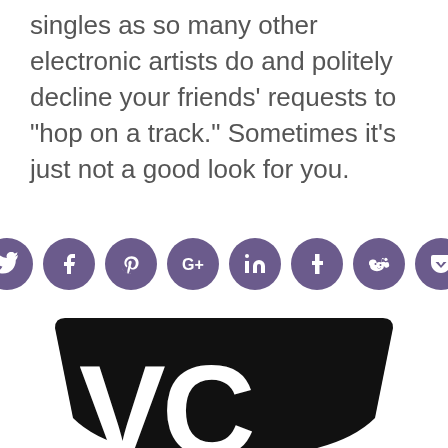singles as so many other electronic artists do and politely decline your friends' requests to “hop on a track.” Sometimes it’s just not a good look for you.
[Figure (infographic): Row of 8 social media sharing buttons (circular purple icons): Twitter, Facebook, Pinterest, Google+, LinkedIn, Tumblr, Reddit, Pocket]
[Figure (logo): Large black shield/badge shape with white letters 'VC' partially visible at bottom of page]